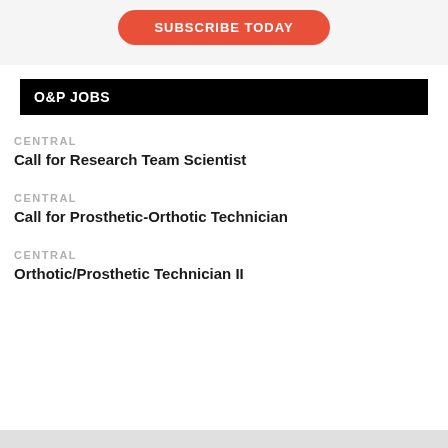[Figure (other): Red rounded rectangle button with white bold text reading SUBSCRIBE TODAY on a light gray background]
O&P JOBS
CENTRAL
Call for Research Team Scientist
CENTRAL
Call for Prosthetic-Orthotic Technician
CENTRAL
Orthotic/Prosthetic Technician II